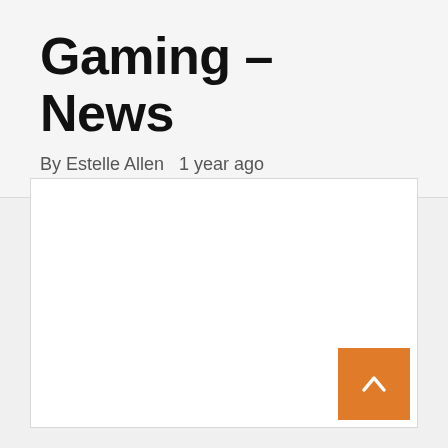Gaming – News
By Estelle Allen   1 year ago
[Figure (other): Empty white content area placeholder]
Back to top button (orange arrow up)